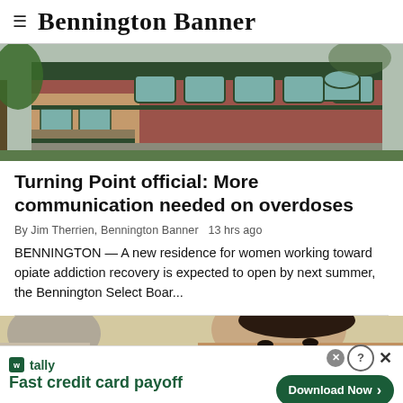Bennington Banner
[Figure (photo): Exterior photo of a brick building with green trim, large windows, and surrounding trees]
Turning Point official: More communication needed on overdoses
By Jim Therrien, Bennington Banner  13 hrs ago
BENNINGTON — A new residence for women working toward opiate addiction recovery is expected to open by next summer, the Bennington Select Boar...
[Figure (photo): Close-up photo of a person's face, partially visible]
[Figure (other): Advertisement: Tally app — Fast credit card payoff. Download Now button.]